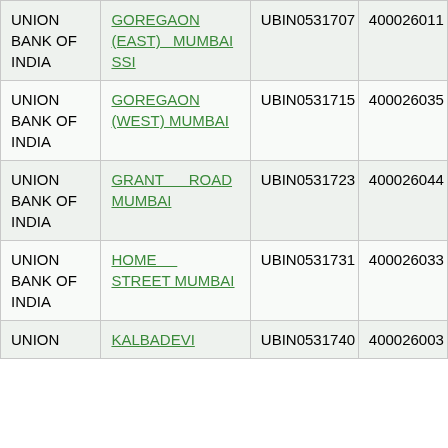| UNION BANK OF INDIA | GOREGAON (EAST)  MUMBAI SSI | UBIN0531707 | 400026011 |
| UNION BANK OF INDIA | GOREGAON (WEST) MUMBAI | UBIN0531715 | 400026035 |
| UNION BANK OF INDIA | GRANT ROAD MUMBAI | UBIN0531723 | 400026044 |
| UNION BANK OF INDIA | HOME STREET MUMBAI | UBIN0531731 | 400026033 |
| UNION BANK OF INDIA | KALBADEVI | UBIN0531740 | 400026003 |